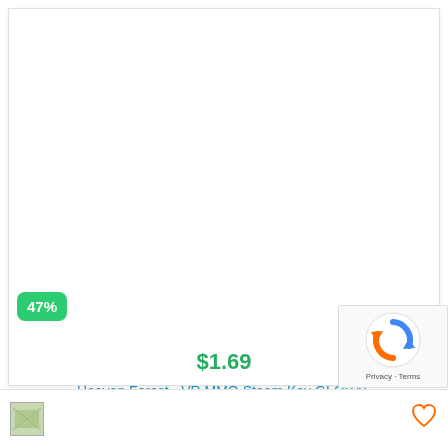[Figure (screenshot): Product image area (white/blank) for a game product listing]
47%
$1.69
Heaven Forest - VR MMO Steam Key GLOBAL
[Figure (logo): Google reCAPTCHA logo with Privacy and Terms text]
[Figure (thumbnail): Small thumbnail image at bottom left]